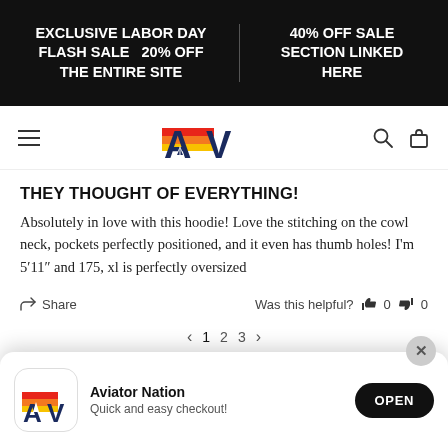EXCLUSIVE LABOR DAY FLASH SALE   20% OFF THE ENTIRE SITE   |   40% OFF SALE SECTION LINKED HERE
[Figure (logo): Aviator Nation logo with stylized AV letters and red/orange/yellow gradient stripe]
THEY THOUGHT OF EVERYTHING!
Absolutely in love with this hoodie! Love the stitching on the cowl neck, pockets perfectly positioned, and it even has thumb holes! I'm 5'11" and 175, xl is perfectly oversized
Share   |   Was this helpful?  👍 0  👎 0
< 1 2 3 >
[Figure (screenshot): App install banner: Aviator Nation logo, text 'Aviator Nation - Quick and easy checkout!', OPEN button, close X button]